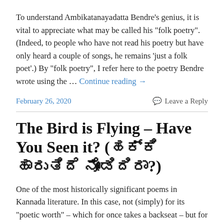To understand Ambikatanayadatta Bendre's genius, it is vital to appreciate what may be called his "folk poetry". (Indeed, to people who have not read his poetry but have only heard a couple of songs, he remains 'just a folk poet'.) By "folk poetry", I refer here to the poetry Bendre wrote using the … Continue reading →
February 26, 2020    Leave a Reply
The Bird is Flying – Have You Seen it? (ಹಕ್ಕಿ ಹಾರುತಿದೆ ನೋಡಿದಿರಾ?)
One of the most historically significant poems in Kannada literature. In this case, not (simply) for its "poetic worth" – which for once takes a backseat – but for its impact on the